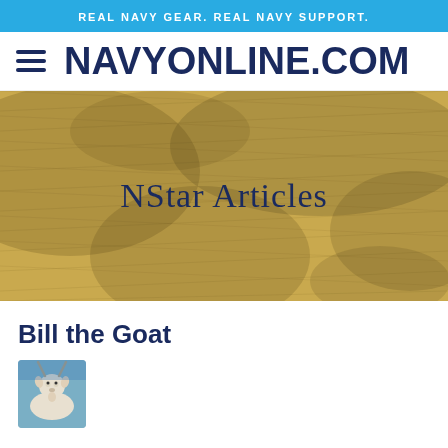REAL NAVY GEAR. REAL NAVY SUPPORT.
NAVYONLINE.COM
[Figure (photo): Sandy/textured tan and yellow background image with 'NStar Articles' text overlaid in dark navy serif font]
Bill the Goat
[Figure (photo): Small thumbnail photo of a goat (Bill the Goat mascot) with a blue background]